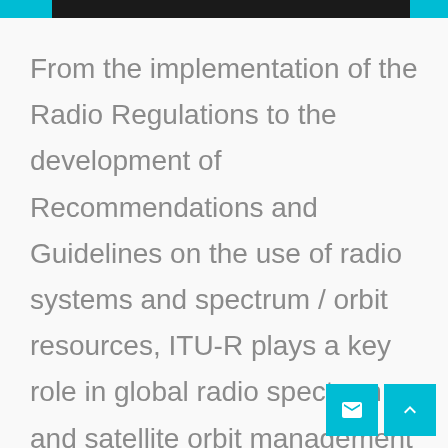From the implementation of the Radio Regulations to the development of Recommendations and Guidelines on the use of radio systems and spectrum / orbit resources, ITU-R plays a key role in global radio spectrum and satellite orbit management through a wide variety of activities.